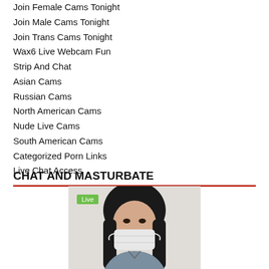Join Female Cams Tonight
Join Male Cams Tonight
Join Trans Cams Tonight
Wax6 Live Webcam Fun
Strip And Chat
Asian Cams
Russian Cams
North American Cams
Nude Live Cams
South American Cams
Categorized Porn Links
Live Chat Access
CHAT AND MASTURBATE
[Figure (photo): A person wearing a face mask with long dark hair, with a green 'Live' badge overlay in the top-left corner of the image.]